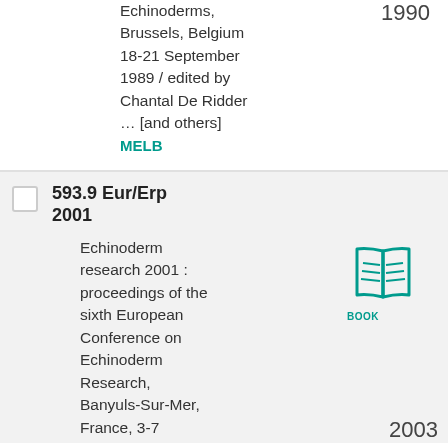Echinoderms, Brussels, Belgium 18-21 September 1989 / edited by Chantal De Ridder ... [and others]
1990
MELB
593.9 Eur/Erp 2001
Echinoderm research 2001 : proceedings of the sixth European Conference on Echinoderm Research, Banyuls-Sur-Mer, France, 3-7
[Figure (illustration): Teal/green book icon with the label BOOK underneath]
2003